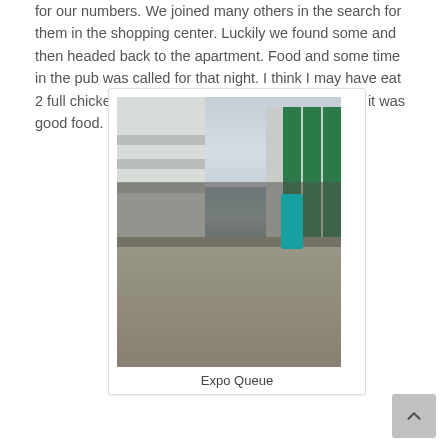for our numbers. We joined many others in the search for them in the shopping center. Luckily we found some and then headed back to the apartment. Food and some time in the pub was called for that night. I think I may have eat 2 full chickens, I got a bit excited when ordering but it was good food.
[Figure (photo): A photograph showing a long queue of people standing outside between two large modern buildings. On the left is a white/grey multi-storey building, on the right is a building with green columns. People are walking along a gravel pathway toward the buildings. A person in a teal shirt is prominent in the foreground right. The sky is overcast.]
Expo Queue